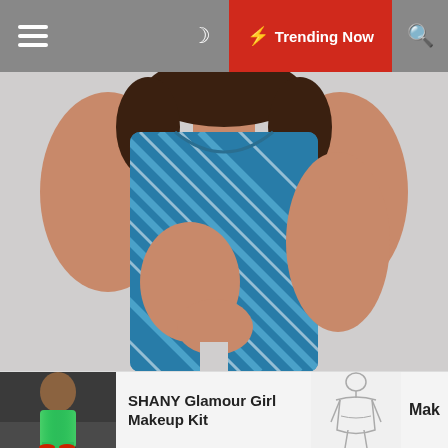☰  🌙  ⚡ Trending Now  🔍
[Figure (photo): Woman wearing a blue and white striped sleeveless bodycon dress against a light grey background, hands clasped in front]
[Figure (photo): Thumbnail of a person wearing green metallic outfit]
SHANY Glamour Girl Makeup Kit
[Figure (illustration): Line drawing thumbnail of a woman's body/fashion sketch]
Mak